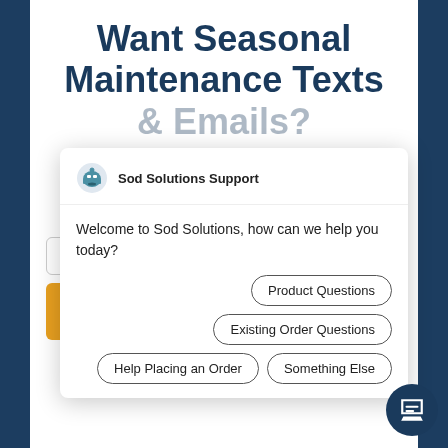Want Seasonal Maintenance Texts & Emails?
We can let you know when it's time to apply a fertilizer, fungicide, herbicide or insecticide. Plus - Special Promo Codes - reminders today!
[Figure (screenshot): Chat support popup from Sod Solutions Support with message 'Welcome to Sod Solutions, how can we help you today?' and three option buttons: Product Questions, Existing Order Questions, Help Placing an Order, Something Else]
Email
CONTINUE